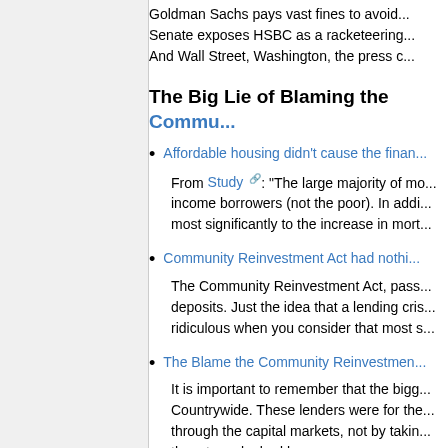Goldman Sachs pays vast fines to avoid... Senate exposes HSBC as a racketeering... And Wall Street, Washington, the press...
The Big Lie of Blaming the Community...
Affordable housing didn't cause the financial crisis...
From Study: "The large majority of mo... income borrowers (not the poor). In addi... most significantly to the increase in mort...
Community Reinvestment Act had nothing...
The Community Reinvestment Act, pass... deposits. Just the idea that a lending cri... ridiculous when you consider that most s...
The Blame the Community Reinvestment...
It is important to remember that the bigg... Countrywide. These lenders were for the... through the capital markets, not by takin... them to make bad loans.
Examining the big lie: How the facts of th...